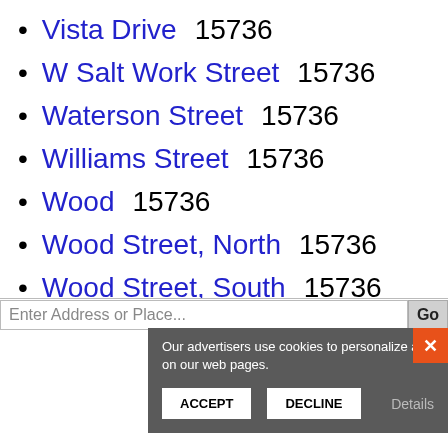Vista Drive  15736
W Salt Work Street  15736
Waterson Street  15736
Williams Street  15736
Wood  15736
Wood Street, North  15736
Wood Street, South  15736
Enter Address or Place...
Our advertisers use cookies to personalize ads on our web pages.
ACCEPT
DECLINE
Details